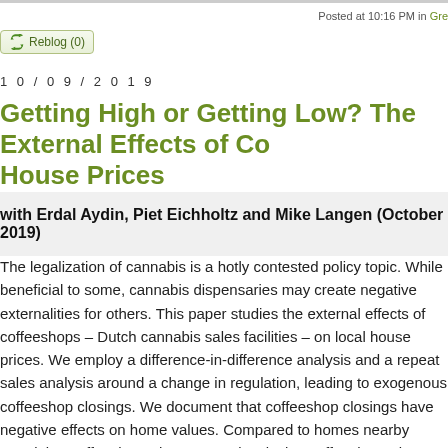Posted at 10:16 PM in Gre
[Figure (other): Reblog (0) button with recycling icon]
10/09/2019
Getting High or Getting Low? The External Effects of Co… House Prices
with Erdal Aydin, Piet Eichholtz and Mike Langen (October 2019)
The legalization of cannabis is a hotly contested policy topic. While beneficial to some, cannabis dispensaries may create negative externalities for others. This paper studies the external effects of coffeeshops – Dutch cannabis sales facilities – on local house prices. We employ a difference-in-difference analysis and a repeat sales analysis around a change in regulation, leading to exogenous coffeeshop closings. We document that coffeeshop closings have negative effects on home values. Compared to homes nearby remaining coffeeshops, homes nearby closing coffeeshops decrease on average 1.6 to 7.8 percent in value. The findings are robust to